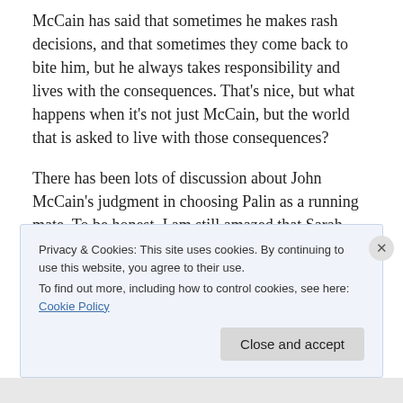McCain has said that sometimes he makes rash decisions, and that sometimes they come back to bite him, but he always takes responsibility and lives with the consequences. That's nice, but what happens when it's not just McCain, but the world that is asked to live with those consequences?
There has been lots of discussion about John McCain's judgment in choosing Palin as a running mate. To be honest, I am still amazed that Sarah Palin actually accepted this position in the first place, and what it says
Privacy & Cookies: This site uses cookies. By continuing to use this website, you agree to their use.
To find out more, including how to control cookies, see here: Cookie Policy
Close and accept